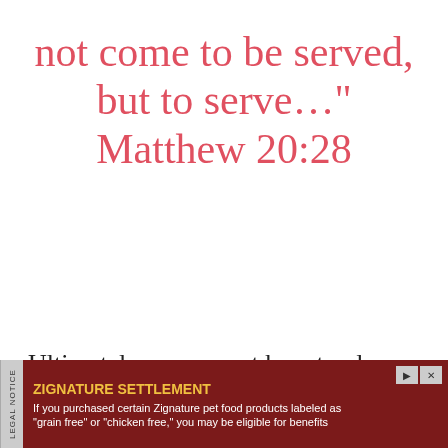not come to be served, but to serve…" Matthew 20:28
Ultimately, we are not here to please ourselves. God gave each of us the special mission
[Figure (other): Advertisement banner at bottom of page. Dark red background. Left side shows 'LEGAL NOTICE' in vertical text on gray strip. Main content shows 'ZIGNATURE SETTLEMENT' in yellow bold text with play and close icon buttons top right. Body text reads: 'If you purchased certain Zignature pet food products labeled as "grain free" or "chicken free," you may be eligible for benefits']